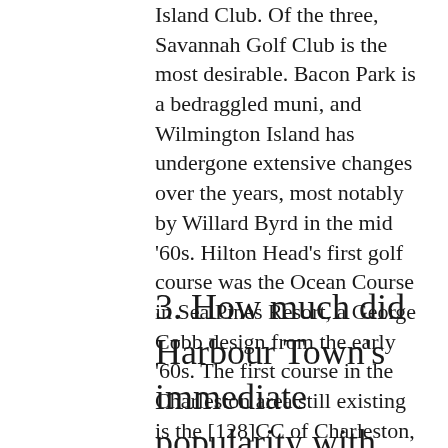Island Club. Of the three, Savannah Golf Club is the most desirable. Bacon Park is a bedraggled muni, and Wilmington Island has undergone extensive changes over the years, most notably by Willard Byrd in the mid '60s. Hilton Head's first golf course was the Ocean Course in Sea Pines Resort, a George Cobb design from the early '60s. The first course in the Charleston area still existing is the [128]CC of Charleston, a Seth Raynor design from 1923. [129]Yeamans Hall, another Raynor design in Charleston, is two years older than that.
3. How much did Harbour Town's immediate popularity with the professional golfers at the Heritage help drive the golf